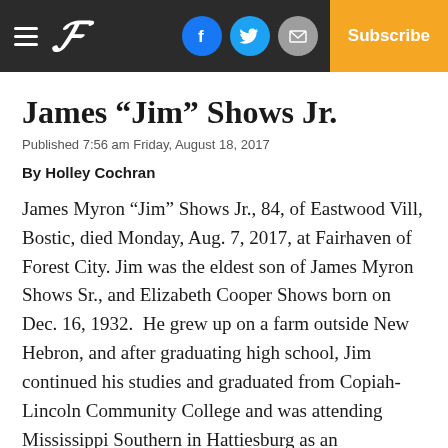James "Jim" Shows Jr. — newspaper header with hamburger menu, P logo, social icons (Facebook, Twitter, Email), Subscribe button
James “Jim” Shows Jr.
Published 7:56 am Friday, August 18, 2017
By Holley Cochran
James Myron “Jim” Shows Jr., 84, of Eastwood Vill, Bostic, died Monday, Aug. 7, 2017, at Fairhaven of Forest City. Jim was the eldest son of James Myron Shows Sr., and Elizabeth Cooper Shows born on Dec. 16, 1932.  He grew up on a farm outside New Hebron, and after graduating high school, Jim continued his studies and graduated from Copiah-Lincoln Community College and was attending Mississippi Southern in Hattiesburg as an engineering student when he was drafted into the